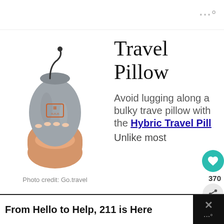···°
[Figure (photo): A hand holding a small grey drawstring pouch (packed travel pillow) with an orange logo on it, against a white background.]
Photo credit: Go.travel
Travel Pillow
Avoid lugging along a bulky travel pillow with the Hybric Travel Pillow... Unlike most
From Hello to Help, 211 is Here